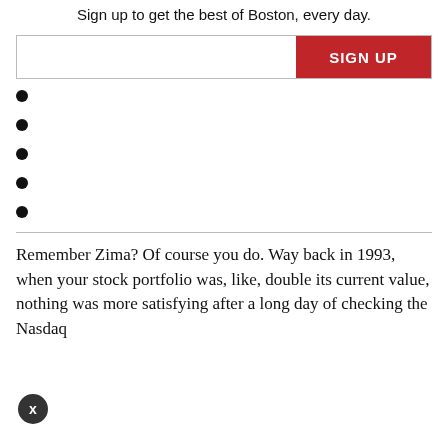Sign up to get the best of Boston, every day.
[Figure (other): Email sign-up form with text input and red SIGN UP button]
Remember Zima? Of course you do. Way back in 1993, when your stock portfolio was, like, double its current value, nothing was more satisfying after a long day of checking the Nasdaq